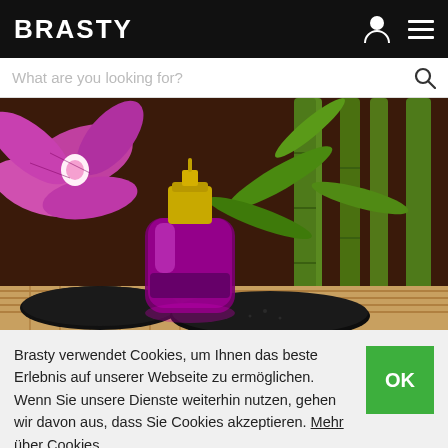BRASTY
[Figure (screenshot): Search bar with placeholder text 'What are you looking for?' and a search icon on the right]
[Figure (photo): A purple/magenta perfume bottle with a gold cap surrounded by an orchid flower, bamboo stalks, and black spa stones on a bamboo mat]
Brasty verwendet Cookies, um Ihnen das beste Erlebnis auf unserer Webseite zu ermöglichen. Wenn Sie unsere Dienste weiterhin nutzen, gehen wir davon aus, dass Sie Cookies akzeptieren. Mehr über Cookies.